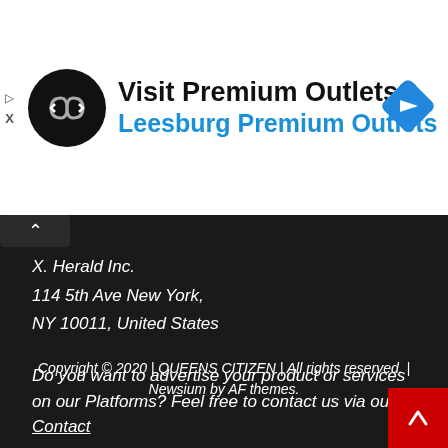[Figure (infographic): Advertisement banner for Premium Outlets with circular black logo containing a double arrow symbol, text 'Visit Premium Outlets®' and 'Leesburg Premium Outlets' in blue, and a blue diamond navigation icon on the right. Small play and X icons on the left edge.]
X. Herald Inc.
114 5th Ave New York,
NY 10011, United States
Do you want to advertise your product or services on our Platforms? Feel free to contact us via our Contact
About Us   DMCA   Contact Form   Privacy Policy   Editorial Policy
Copyright © 2020 | QUEENS CITIZEN | All rights reserved. | Newsium by AF themes.